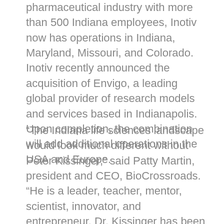pharmaceutical industry with more than 500 Indiana employees, Inotiv now has operations in Indiana, Maryland, Missouri, and Colorado. Inotiv recently announced the acquisition of Envigo, a leading global provider of research models and services based in Indianapolis. Upon completion, the combination will add additional operations in the USA and Europe.
“The Indiana life sciences landscape would look much different without Peter Kissinger,” said Patty Martin, president and CEO, BioCrossroads. “He is a leader, teacher, mentor, scientist, innovator, and entrepreneur. Dr. Kissinger has been teaching and training tomorrow’s scientists at Purdue University since 1975 and at the same time demonstrating an amazing ability for turning scientific research into commercial success.”
Dr. Kissinger was a finalist for Ernst & Young Entrepreneur of the Year Award in the Indiana Heartland region for 2001 and 2002 and is a recipient of